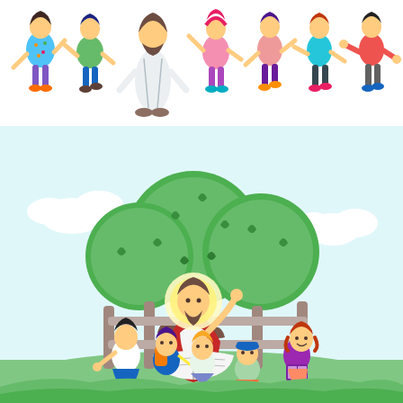[Figure (illustration): A cartoon/clip-art style religious illustration in two parts. Top portion: Six children and a robed figure (Jesus) standing in a row with white background, children wearing colorful clothing and appearing happy. Bottom portion: A larger outdoor scene showing Jesus with a halo/golden glow sitting under a large green leafy tree against a light blue sky with clouds, surrounded by five children who are listening, reading, and studying from a book. A wooden fence is visible in the background, and there is green grass beneath them.]